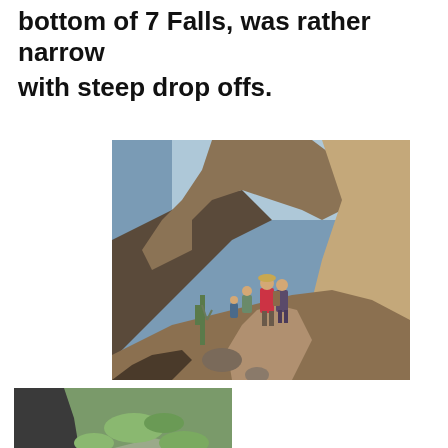bottom of 7 Falls, was rather narrow
with steep drop offs.
[Figure (photo): Hikers walking along a narrow rocky trail between steep canyon walls, with desert mountain landscape in the background. Several hikers with backpacks and hats are visible on the path.]
[Figure (photo): Rocky hillside with sparse green vegetation, showing a steep rocky terrain typical of a desert canyon environment.]